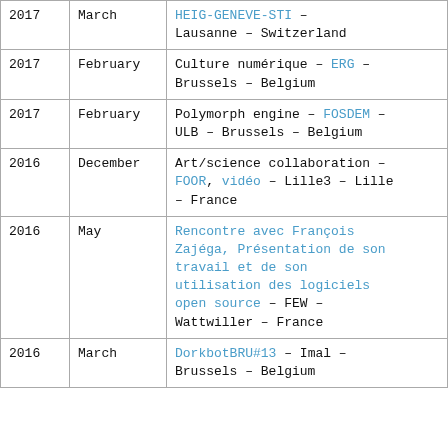| Year | Month | Event |
| --- | --- | --- |
| 2017 | March | HEIG-GENEVE-STI – [link] – Lausanne – Switzerland |
| 2017 | February | Culture numérique – ERG – Brussels – Belgium |
| 2017 | February | Polymorph engine – FOSDEM – ULB – Brussels – Belgium |
| 2016 | December | Art/science collaboration – FOOR, vidéo – Lille3 – Lille – France |
| 2016 | May | Rencontre avec François Zajéga, Présentation de son travail et de son utilisation des logiciels open source – FEW – Wattwiller – France |
| 2016 | March | DorkbotBRU#13 – Imal – Brussels – Belgium |